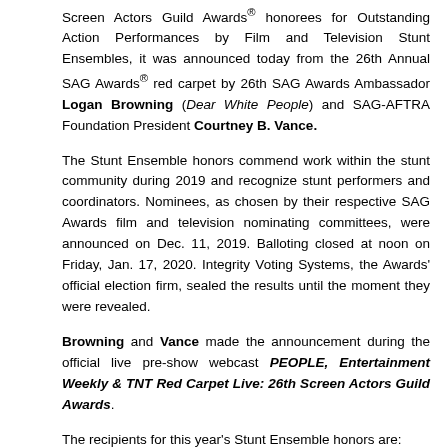Screen Actors Guild Awards® honorees for Outstanding Action Performances by Film and Television Stunt Ensembles, it was announced today from the 26th Annual SAG Awards® red carpet by 26th SAG Awards Ambassador Logan Browning (Dear White People) and SAG-AFTRA Foundation President Courtney B. Vance.
The Stunt Ensemble honors commend work within the stunt community during 2019 and recognize stunt performers and coordinators. Nominees, as chosen by their respective SAG Awards film and television nominating committees, were announced on Dec. 11, 2019. Balloting closed at noon on Friday, Jan. 17, 2020. Integrity Voting Systems, the Awards' official election firm, sealed the results until the moment they were revealed.
Browning and Vance made the announcement during the official live pre-show webcast PEOPLE, Entertainment Weekly & TNT Red Carpet Live: 26th Screen Actors Guild Awards.
The recipients for this year's Stunt Ensemble honors are:
Outstanding Action Performance by a Stunt Ensemble in a Motion Picture